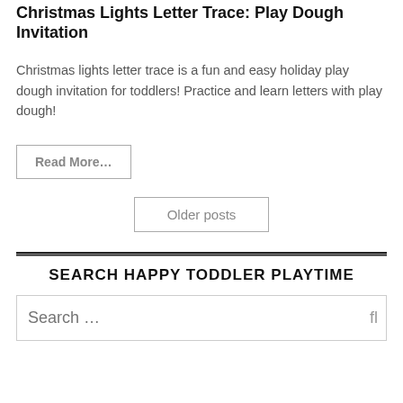Christmas Lights Letter Trace: Play Dough Invitation
Christmas lights letter trace is a fun and easy holiday play dough invitation for toddlers! Practice and learn letters with play dough!
Read More...
Older posts
SEARCH HAPPY TODDLER PLAYTIME
Search ...